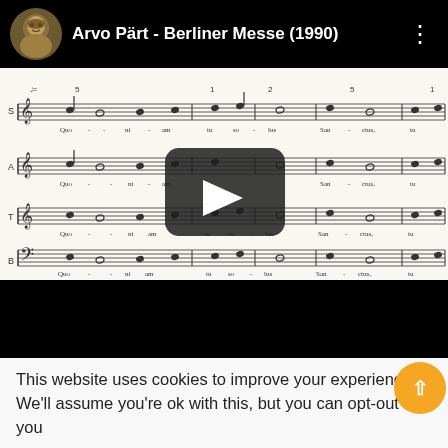[Figure (screenshot): YouTube video player header showing channel avatar (portrait painting), title 'Arvo Pärt - Berliner Messe (1990)', and three-dot menu icon on black background]
[Figure (screenshot): Sheet music for Arvo Pärt's Berliner Messe showing four vocal parts (S, A, T, B) with musical notation, with a YouTube play button overlay in the center]
[Figure (screenshot): Black bar representing the bottom portion of a video player]
This website uses cookies to improve your experience. We'll assume you're ok with this, but you can opt-out if you
Cookie settings
ACCEPT